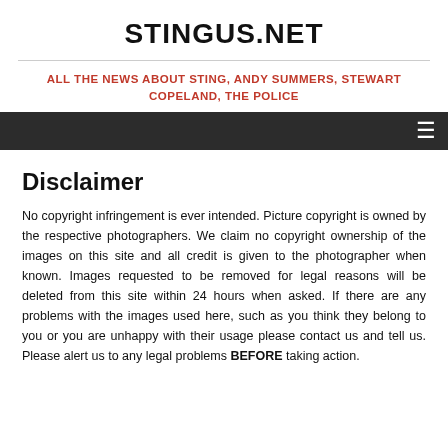STINGUS.NET
ALL THE NEWS ABOUT STING, ANDY SUMMERS, STEWART COPELAND, THE POLICE
Disclaimer
No copyright infringement is ever intended. Picture copyright is owned by the respective photographers. We claim no copyright ownership of the images on this site and all credit is given to the photographer when known. Images requested to be removed for legal reasons will be deleted from this site within 24 hours when asked. If there are any problems with the images used here, such as you think they belong to you or you are unhappy with their usage please contact us and tell us. Please alert us to any legal problems BEFORE taking action.